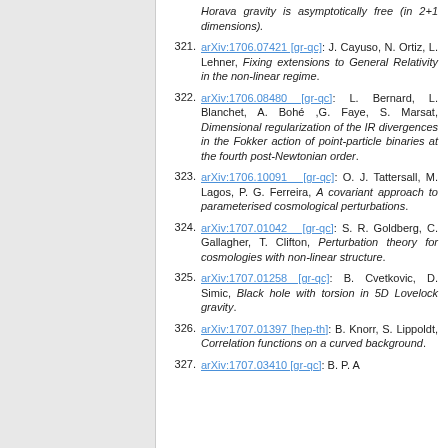Horava gravity is asymptotically free (in 2+1 dimensions).
321. arXiv:1706.07421 [gr-qc]: J. Cayuso, N. Ortiz, L. Lehner, Fixing extensions to General Relativity in the non-linear regime.
322. arXiv:1706.08480 [gr-qc]: L. Bernard, L. Blanchet, A. Bohé ,G. Faye, S. Marsat, Dimensional regularization of the IR divergences in the Fokker action of point-particle binaries at the fourth post-Newtonian order.
323. arXiv:1706.10091 [gr-qc]: O. J. Tattersall, M. Lagos, P. G. Ferreira, A covariant approach to parameterised cosmological perturbations.
324. arXiv:1707.01042 [gr-qc]: S. R. Goldberg, C. Gallagher, T. Clifton, Perturbation theory for cosmologies with non-linear structure.
325. arXiv:1707.01258 [gr-qc]: B. Cvetkovic, D. Simic, Black hole with torsion in 5D Lovelock gravity.
326. arXiv:1707.01397 [hep-th]: B. Knorr, S. Lippoldt, Correlation functions on a curved background.
327. arXiv:1707.03410 [gr-qc]: B. P. A...